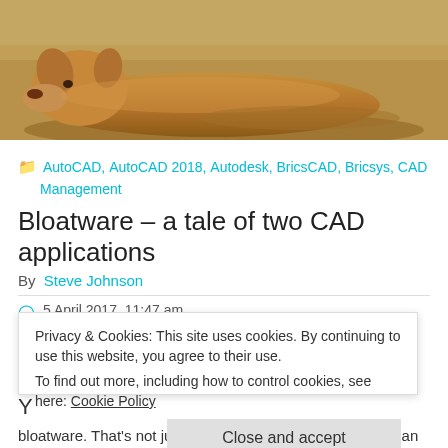[Figure (photo): A golden/tan dog lying down on the ground, photographed from above, filling the top banner of the page.]
AutoCAD, AutoCAD 2018, Autodesk, BricsCAD, Bricsys, CAD Management
Bloatware – a tale of two CAD applications
By Steve Johnson
5 April 2017, 11:47 am
AutoCAD, AutoCAD 2018, AutoCAD 2018.0.1, Bloat, Bloatware, BricsCAD V17, BricsCAD V17.2, Dogs, Download,
Privacy & Cookies: This site uses cookies. By continuing to use this website, you agree to their use.
To find out more, including how to control cookies, see here: Cookie Policy
Y
bloatware. That's not just the general grumpy-old-user moan you